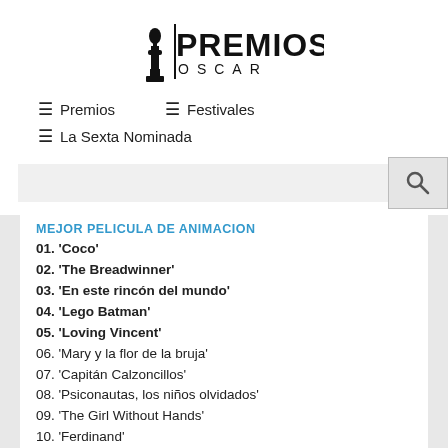[Figure (logo): Premios Oscar logo with Oscar statuette silhouette and text PREMIOS OSCAR]
≡ Premios   ≡ Festivales
≡ La Sexta Nominada
MEJOR PELICULA DE ANIMACION
01. 'Coco'
02. 'The Breadwinner'
03. 'En este rincón del mundo'
04. 'Lego Batman'
05. 'Loving Vincent'
06. 'Mary y la flor de la bruja'
07. 'Capitán Calzoncillos'
08. 'Psiconautas, los niños olvidados'
09. 'The Girl Without Hands'
10. 'Ferdinand'